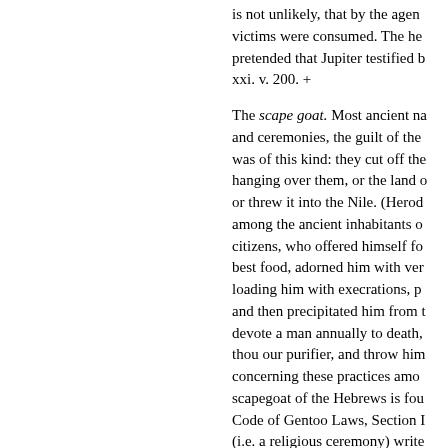is not unlikely, that by the agency of victims were consumed. The he pretended that Jupiter testified b xxi. v. 200. +
The scape goat. Most ancient na and ceremonies, the guilt of the was of this kind: they cut off the hanging over them, or the land o or threw it into the Nile. (Herod among the ancient inhabitants o citizens, who offered himself fo best food, adorned him with ve loading him with execrations, p and then precipitated him from devote a man annually to death, thou our purifier, and throw him concerning these practices amo scapegoat of the Hebrews is fo Code of Gentoo Laws, Section (i.e. a religious ceremony) write the horse, sending along with th accoutrements, to accompany t creature, either man, genius, or